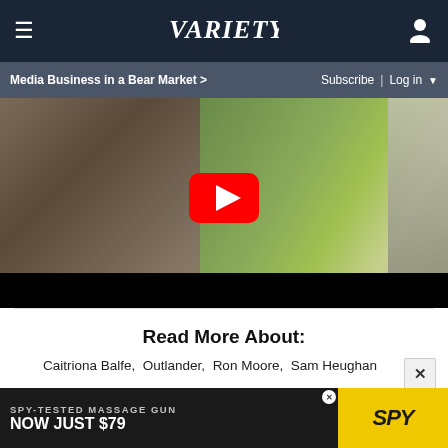VARIETY — Media Business in a Bear Market > | Subscribe | Log in
[Figure (screenshot): YouTube video thumbnail showing a person in a plaid/tweed coat outdoors with trees and greenery in background, with a YouTube play button overlay in the center, and a black bar at the bottom.]
Read More About:
Caitriona Balfe, Outlander, Ron Moore, Sam Heughan
[Figure (photo): Advertisement banner: SPY-TESTED MASSAGE GUN NOW JUST $79, with SPY logo on yellow background.]